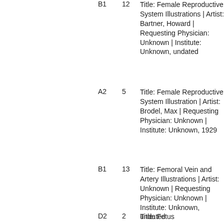B1  12  Title: Female Reproductive System Illustrations | Artist: Bartner, Howard | Requesting Physician: Unknown | Institute: Unknown, undated
A2  5  Title: Female Reproductive System Illustration | Artist: Brodel, Max | Requesting Physician: Unknown | Institute: Unknown, 1929
B1  13  Title: Femoral Vein and Artery Illustrations | Artist: Unknown | Requesting Physician: Unknown | Institute: Unknown, undated
D2  2  Title: Fetus Illustration